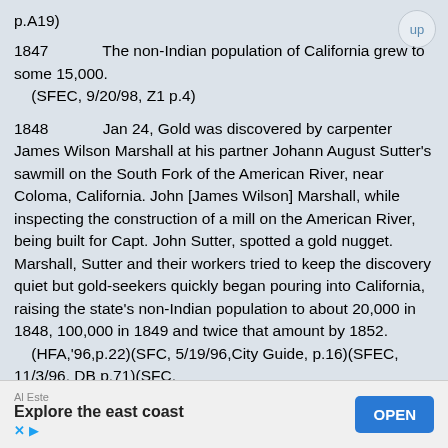p.A19)
1847   The non-Indian population of California grew to some 15,000.
    (SFEC, 9/20/98, Z1 p.4)
1848   Jan 24, Gold was discovered by carpenter James Wilson Marshall at his partner Johann August Sutter's sawmill on the South Fork of the American River, near Coloma, California. John [James Wilson] Marshall, while inspecting the construction of a mill on the American River, being built for Capt. John Sutter, spotted a gold nugget. Marshall, Sutter and their workers tried to keep the discovery quiet but gold-seekers quickly began pouring into California, raising the state's non-Indian population to about 20,000 in 1848, 100,000 in 1849 and twice that amount by 1852.
    (HFA,'96,p.22)(SFC, 5/19/96,City Guide, p.16)(SFEC, 11/3/96, DB p.71)(SFC,
[Figure (other): Advertisement banner: 'Al Este / Explore the east coast' with OPEN button]